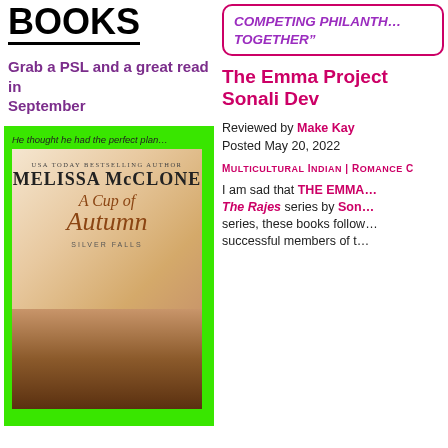[Figure (logo): BOOKS logo with bold text and underline]
Grab a PSL and a great read in September
[Figure (illustration): Book cover: A Cup of Autumn by Melissa McClone, Silver Falls series. Green border with tagline 'He thought he had the perfect plan...' and cover art showing a blue mug with pumpkins and autumn decorations.]
COMPETING PHILANTHR... TOGETHER"
The Emma Project by Sonali Dev
Reviewed by Make Kay
Posted May 20, 2022
Multicultural Indian | Romance C...
I am sad that THE EMMA... The Rajes series by Son... series, these books follow... successful members of t...